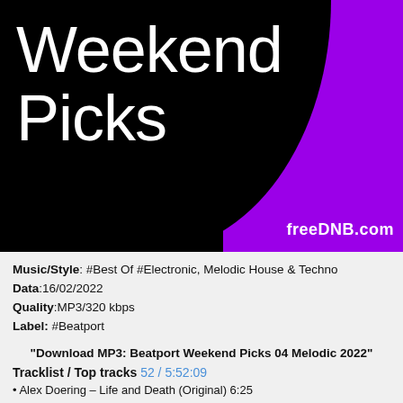[Figure (illustration): Banner with black background and purple accent shape (S-curve), large white text reading 'Weekend Picks', and 'freeDNB.com' watermark in bottom right.]
Music/Style: #Best Of #Electronic, Melodic House & Techno
Data:16/02/2022
Quality:MP3/320 kbps
Label: #Beatport
"Download MP3: Beatport Weekend Picks 04 Melodic 2022"
Tracklist / Top tracks 52 / 5:52:09
• Alex Doering – Life and Death (Original) 6:25
• Alex Preda – Might Be Love feat. Katty Heath (Lexer Remix) 7:03
• Audiotones – Gondwana (Original Mix) 8:27